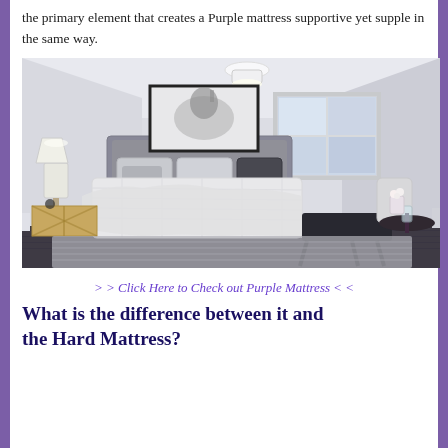the primary element that creates a Purple mattress supportive yet supple in the same way.
[Figure (photo): Bright modern bedroom with a large bed with white bedding, grey upholstered headboard, framed horse art on wall, window, lamp on side table, black bench at foot of bed, and a grey area rug.]
> > Click Here to Check out Purple Mattress < <
What is the difference between it and the Hard Mattress?